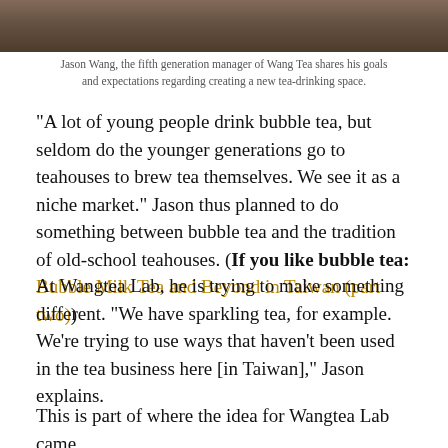[Figure (photo): Cropped photo showing hands resting on a wooden table with a glass of tea visible, in a teahouse setting.]
Jason Wang, the fifth generation manager of Wang Tea shares his goals and expectations regarding creating a new tea-drinking space.
“A lot of young people drink bubble tea, but seldom do the younger generations go to teahouses to brew tea themselves. We see it as a niche market.” Jason thus planned to do something between bubble tea and the tradition of old-school teahouses. (If you like bubble tea: Bubble Milk Tea and Beyond in Taiwan (part two))
At Wangtea Lab, he is trying to make something different. “We have sparkling tea, for example. We’re trying to use ways that haven’t been used in the tea business here [in Taiwan],” Jason explains.
This is part of where the idea for Wangtea Lab came